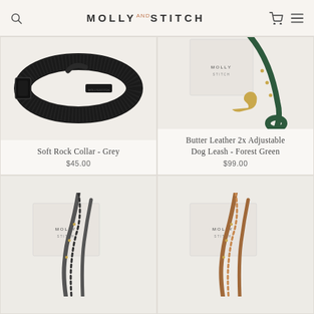Molly and Stitch
[Figure (photo): Black nylon dog collar with black metal buckle and D-ring, Molly and Stitch branded, on light background]
Soft Rock Collar - Grey
$45.00
[Figure (photo): Dark forest green leather dog leash with gold hardware and clip, displayed next to a Molly Stitch branded white box]
Butter Leather 2x Adjustable Dog Leash - Forest Green
$99.00
[Figure (photo): Grey and black braided leather dog leash/harness with gold studs, displayed next to a Molly Stitch branded white box (partially visible, bottom-left)]
[Figure (photo): Tan/brown braided leather dog leash/harness with gold studs, displayed next to a Molly Stitch branded white box (partially visible, bottom-right)]